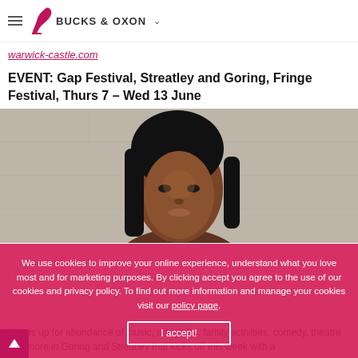BUCKS & OXON
warwick-castle.com
EVENT: Gap Festival, Streatley and Goring, Fringe Festival, Thurs 7 – Wed 13 June
[Figure (photo): Portrait photo of a young Black woman with straight dark hair, looking directly at the camera, against a light stone wall background.]
We use cookies to improve your online experience, understand what you love most and for marketing purposes. By clicking accept you agree to the use of our cookies and privacy policy. To find out more information and manage your cookies visit our policy page.
Heads up for abundance of music, arts, talks, family activities, comedy, theatre and more in Goring and Streatley that kicks off this week with a